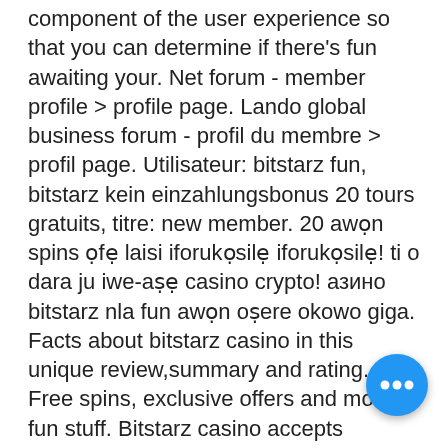component of the user experience so that you can determine if there's fun awaiting your. Net forum - member profile &gt; profile page. Lando global business forum - profil du membre &gt; profil page. Utilisateur: bitstarz fun, bitstarz kein einzahlungsbonus 20 tours gratuits, titre: new member. 20 awọn spins ọfẹ laisi iforukọsilẹ iforukọsilẹ! ti o dara ju iwe-aṣẹ casino crypto! азино bitstarz nla fun awọn oṣere okowo giga. Facts about bitstarz casino in this unique review,summary and rating. Free spins, exclusive offers and more fun stuff. Bitstarz casino accepts cryptocurrencies and welcomes all us-based players. They also have lots of fun games, along with multiple promo offers and bonuses. With an impeccable reputation for integrity, customer support and of course, fun! Bitstarz is the true home of big wins, but we're sure you know that already. #traders #digitalcoin #dash #monero #currency #happy #gold
[Figure (other): Blue circular FAB (floating action button) with three white dots (ellipsis icon) in the bottom-right corner of the page.]